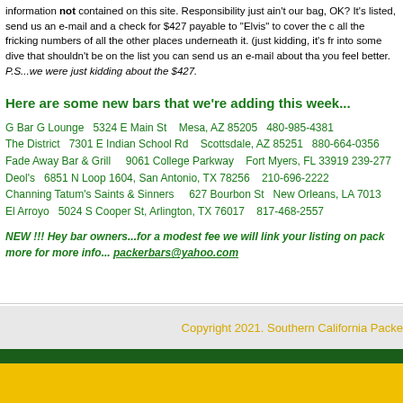information not contained on this site. Responsibility just ain't our bag, OK? It's listed, send us an e-mail and a check for $427 payable to "Elvis" to cover the c all the fricking numbers of all the other places underneath it. (just kidding, it's fr into some dive that shouldn't be on the list you can send us an e-mail about tha you feel better. P.S...we were just kidding about the $427.
Here are some new bars that we're adding this week...
G Bar G Lounge   5324 E Main St    Mesa, AZ 85205   480-985-4381
The District   7301 E Indian School Rd    Scottsdale, AZ 85251   880-664-0356
Fade Away Bar & Grill    9061 College Parkway    Fort Myers, FL 33919 239-277...
Deol's   6851 N Loop 1604, San Antonio, TX 78256    210-696-2222
Channing Tatum's Saints & Sinners    627 Bourbon St   New Orleans, LA 70130...
El Arroyo   5024 S Cooper St, Arlington, TX 76017    817-468-2557
NEW !!! Hey bar owners...for a modest fee we will link your listing on pack more for more info... packerbars@yahoo.com
Copyright 2021. Southern California Packe